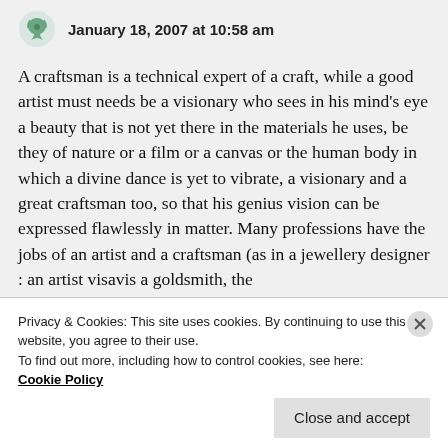January 18, 2007 at 10:58 am
A craftsman is a technical expert of a craft, while a good artist must needs be a visionary who sees in his mind’s eye a beauty that is not yet there in the materials he uses, be they of nature or a film or a canvas or the human body in which a divine dance is yet to vibrate, a visionary and a great craftsman too, so that his genius vision can be expressed flawlessly in matter. Many professions have the jobs of an artist and a craftsman (as in a jewellery designer : an artist visavis a goldsmith, the craftsman) separated and performed by 2 different
Privacy & Cookies: This site uses cookies. By continuing to use this website, you agree to their use.
To find out more, including how to control cookies, see here:
Cookie Policy